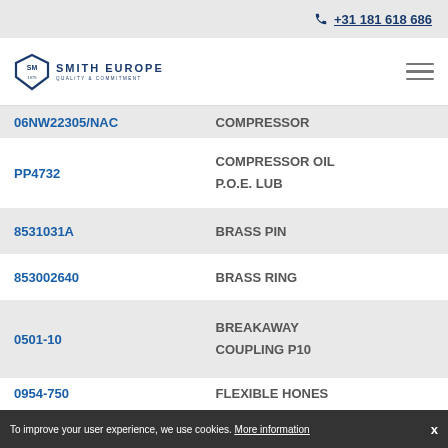+31 181 618 686
[Figure (logo): Smith Europe logo with shield emblem, 'SMITH EUROPE' and 'QUALITY & COMMITMENT' text]
| Part Number | Description |
| --- | --- |
| 06NW22305/NAC | COMPRESSOR |
| PP4732 | COMPRESSOR OIL P.O.E. LUB |
| 8531031A | BRASS PIN |
| 853002640 | BRASS RING |
| 0501-10 | BREAKAWAY COUPLING P10 |
| 0954-750 | FLEXIBLE HONES |
To improve your user experience, we use cookies. More information